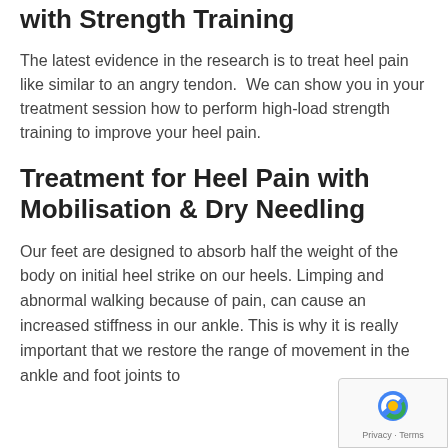with Strength Training
The latest evidence in the research is to treat heel pain like similar to an angry tendon.  We can show you in your treatment session how to perform high-load strength training to improve your heel pain.
Treatment for Heel Pain with Mobilisation & Dry Needling
Our feet are designed to absorb half the weight of the body on initial heel strike on our heels. Limping and abnormal walking because of pain, can cause an increased stiffness in our ankle. This is why it is really important that we restore the range of movement in the ankle and foot joints to